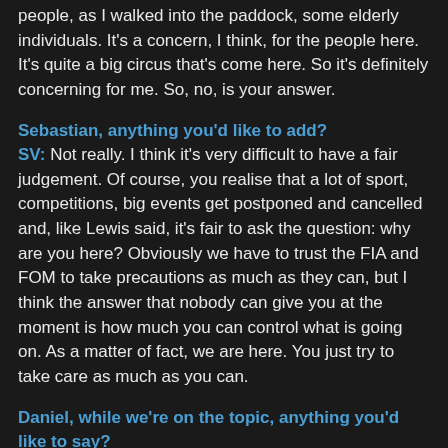people, as I walked into the paddock, some elderly individuals. It's a concern, I think, for the people here. It's quite a big circus that's come here. So it's definitely concerning for me. So, no, is your answer.
Sebastian, anything you'd like to add?
SV: Not really. I think it's very difficult to have a fair judgement. Of course, you realise that a lot of sport, competitions, big events get postponed and cancelled and, like Lewis said, it's fair to ask the question: why are you here? Obviously we have to trust the FIA and FOM to take precautions as much as they can, but I think the answer that nobody can give you at the moment is how much you can control what is going on. As a matter of fact, we are here. You just try to take care as much as you can.
Daniel, while we're on the topic, anything you'd like to say?
DR: ...
Nicholas?
NL: Nothing really more to add. I think the guys summed it